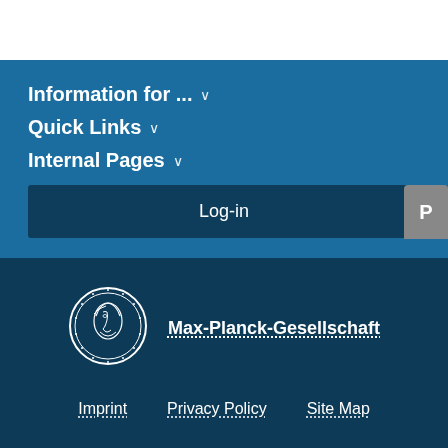Information for ... ∨
Quick Links ∨
Internal Pages ∨
Log-in
[Figure (logo): Max-Planck-Gesellschaft circular coin logo with Minerva profile]
Max-Planck-Gesellschaft
Imprint   Privacy Policy   Site Map
© 2022, Max-Planck-Gesellschaft